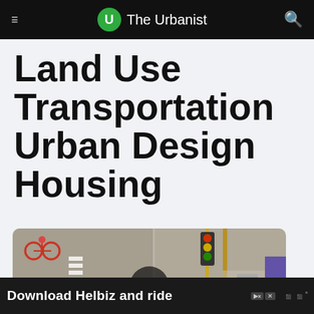The Urbanist
Land Use Transportation Urban Design Housing
[Figure (photo): Aerial view of a street intersection with cyclists, pedestrians, and a traffic light. A man rides a bicycle in the center. A play button overlay appears in the middle of the image.]
Download Helbiz and ride